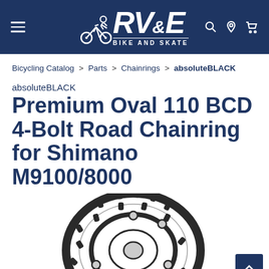RV&E Bike and Skate - navigation header with hamburger menu, logo, search, location, and cart icons
Bicycling Catalog > Parts > Chainrings > absoluteBLACK
absoluteBLACK
Premium Oval 110 BCD 4-Bolt Road Chainring for Shimano M9100/8000
[Figure (photo): Black oval chainring with 4-bolt pattern for Shimano M9100/8000, viewed from front, showing teeth and mounting holes]